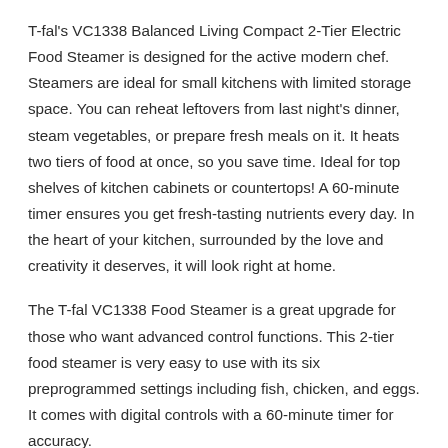T-fal's VC1338 Balanced Living Compact 2-Tier Electric Food Steamer is designed for the active modern chef. Steamers are ideal for small kitchens with limited storage space. You can reheat leftovers from last night's dinner, steam vegetables, or prepare fresh meals on it. It heats two tiers of food at once, so you save time. Ideal for top shelves of kitchen cabinets or countertops! A 60-minute timer ensures you get fresh-tasting nutrients every day. In the heart of your kitchen, surrounded by the love and creativity it deserves, it will look right at home.
The T-fal VC1338 Food Steamer is a great upgrade for those who want advanced control functions. This 2-tier food steamer is very easy to use with its six preprogrammed settings including fish, chicken, and eggs. It comes with digital controls with a 60-minute timer for accuracy.
One of the steaming bowls has a removable base plate to cook large food items, like chicken. I really love that you can